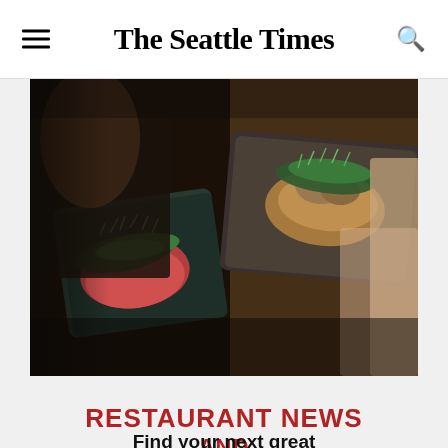The Seattle Times
[Figure (photo): Hands holding rectangular plates with gourmet food dishes topped with microgreens and garnishes, photographed in a dark restaurant setting]
RESTAURANT NEWS AND TASTY DISCOVERIES
Find your next great meal or happy hour.